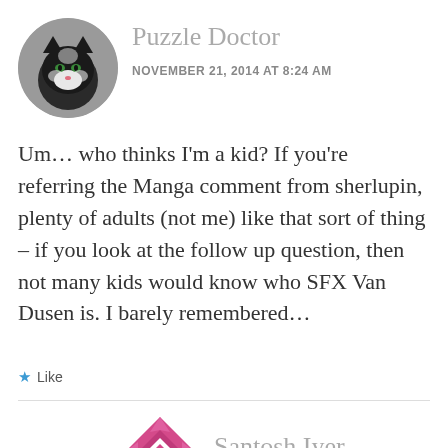[Figure (photo): Circular avatar photo of a black and white cat]
Puzzle Doctor
NOVEMBER 21, 2014 AT 8:24 AM
Um… who thinks I'm a kid? If you're referring the Manga comment from sherlupin, plenty of adults (not me) like that sort of thing – if you look at the follow up question, then not many kids would know who SFX Van Dusen is. I barely remembered…
Like
[Figure (logo): Pink/magenta geometric diamond pattern logo for Santosh Iyer]
Santosh Iyer